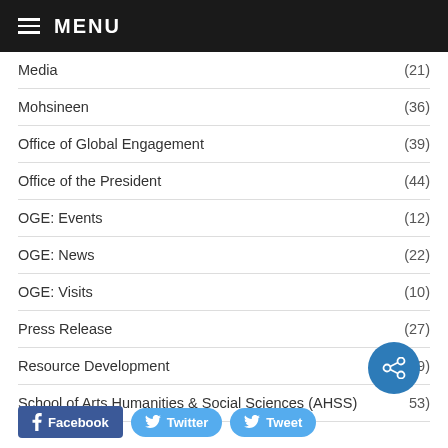MENU
Media (21)
Mohsineen (36)
Office of Global Engagement (39)
Office of the President (44)
OGE: Events (12)
OGE: News (22)
OGE: Visits (10)
Press Release (27)
Resource Development (9)
School of Arts Humanities & Social Sciences (AHSS) (53)